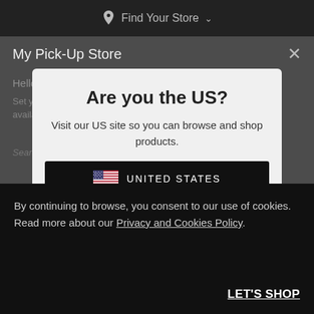Find Your Store
My Pick-Up Store
Are you the US?
Visit our US site so you can browse and shop products.
UNITED STATES
Stay on lushusa.com
By continuing to browse, you consent to our use of cookies. Read more about our Privacy and Cookies Policy.
LET'S SHOP